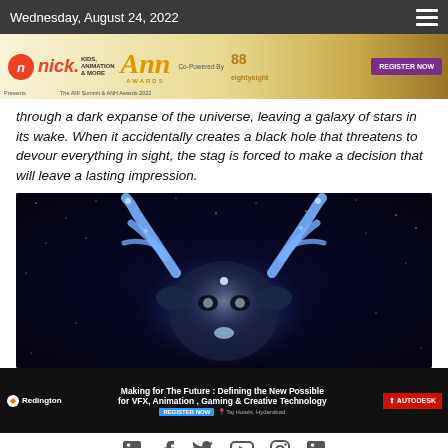Wednesday, August 24, 2022
[Figure (other): Kids, Animation & More / Ann Awards banner ad with Nick logo, Co-Powered By 88sight, Register Now button]
through a dark expanse of the universe, leaving a galaxy of stars in its wake. When it accidentally creates a black hole that threatens to devour everything in sight, the stag is forced to make a decision that will leave a lasting impression.
[Figure (photo): Close-up of an animated glowing blue stag with large antlers against a dark starry space background]
[Figure (other): Redington / Making for The Future: Defining the New Possible for VFX, Animation, Gaming & Creative Technology / Autodesk banner ad]
f  Twitter  YouTube  Instagram  in
Copyright © 2022 AnimationXpress  AnimationXpress| All rights reserved.